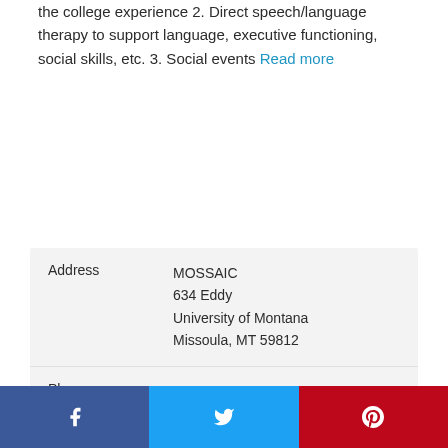the college experience 2. Direct speech/language therapy to support language, executive functioning, social skills, etc. 3. Social events Read more
| Field | Value |
| --- | --- |
| Address | MOSSAIC
634 Eddy
University of Montana
Missoula, MT 59812 |
| Phone | (406) 243-2405 |
| Web | Program website |
| Contact | Jennifer Closson |